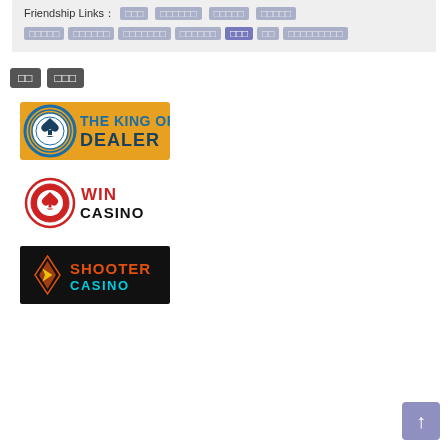Friendship Links: □□□ □□□□□□ □□□□□ □□□□□
□□□□□ □□□□□□ □□□□□□□ □□□□□□ □□□ □□ □□□□□□□□□
□□ □□□
[Figure (logo): The King of Dealer casino logo - orange background with circular poker chip icon and blue text]
[Figure (logo): Win Casino logo - red casino chip icon with red WIN text and black CASINO text]
[Figure (logo): Shooter Casino logo - dark background with diamond/arrow icon and orange/cyan SHOOTER CASINO text]